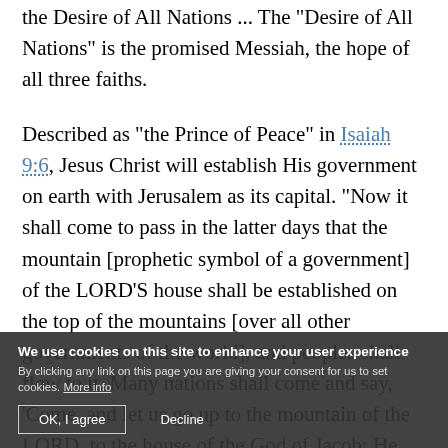the Desire of All Nations ... "The "Desire of All Nations" is the promised Messiah, the hope of all three faiths.
Described as "the Prince of Peace" in Isaiah 9:6, Jesus Christ will establish His government on earth with Jerusalem as its capital. "Now it shall come to pass in the latter days that the mountain [prophetic symbol of a government] of the LORD'S house shall be established on the top of the mountains [over all other governments of the world], and peoples shall flow to it. Many nations shall come and say, 'Come, and let us go up to the mountain of the LORD, to the house of the God of Jacob; He will
We use cookies on this site to enhance your user experience
By clicking any link on this page you are giving your consent for us to set cookies. More info
OK, I agree   Decline